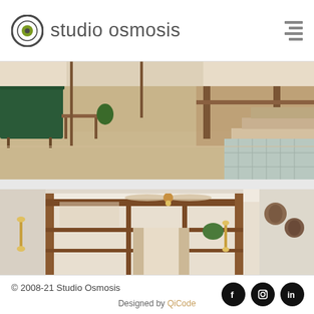studio osmosis
[Figure (photo): Interior living room photo with green sofa on left, wooden furniture, reflective floor, and stepped platform on right]
[Figure (photo): Interior room photo with ceiling fan, warm lighting sconces on walls, wooden frame divider/shelving unit, curtains, and decorative masks on right wall]
© 2008-21 Studio Osmosis | Designed by QiCode